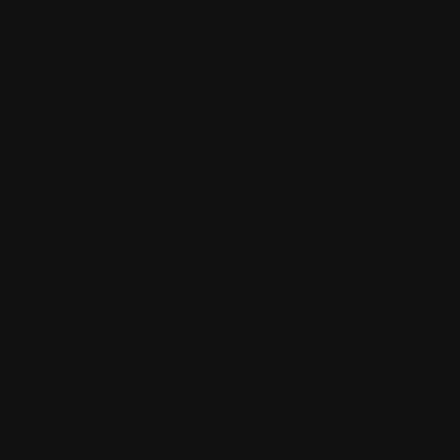Oh, and I had the same reservations ea…
Gareth Brown
I must start to learn this stuff, thanks.
David Merwin
If you are needing to stick with PHP ins… as Rails, but native to PHP. I have been… done in 15 minutes. Just like the rails tu…
The best part for me as a developer… dirs and you are off and running. And, y…
http://www.cakephp.org
You can see a great tutorial at http://www…
Robert
Kyle: I agree, this little bit I talked about… do here. You are always welcome to int…